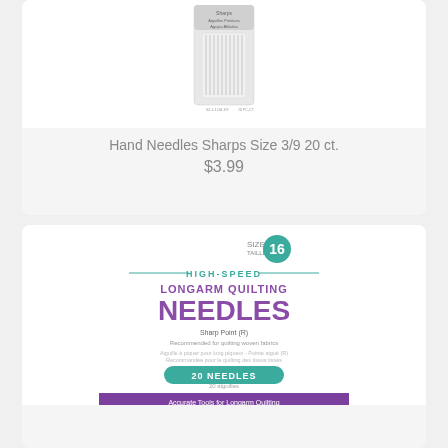[Figure (photo): Hand Needles Sharps Size 3/9 20 ct. product packaging photo — white plastic package with needles visible inside]
Hand Needles Sharps Size 3/9 20 ct.
$3.99
[Figure (photo): Longarm Quilting Needles Size 16, High-Speed Longarm Quilting Needles, Sharp Point (R), 20 Needles, purple packaging with needles visible at bottom]